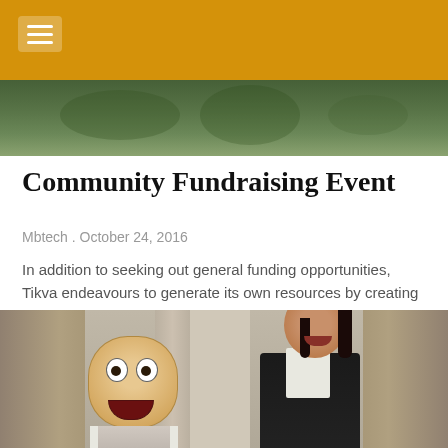[Figure (photo): Top portion of an outdoor photo, partially visible behind the golden header bar]
Community Fundraising Event
Mbtech . October 24, 2016
In addition to seeking out general funding opportunities, Tikva endeavours to generate its own resources by creating awareness of the needs of the disabled in
[Figure (photo): Photo of two people at an indoor event — one person holding a Mr. Bean face mask cutout in front of their face, and a woman with short black hair standing beside them, both in front of grey curtains]